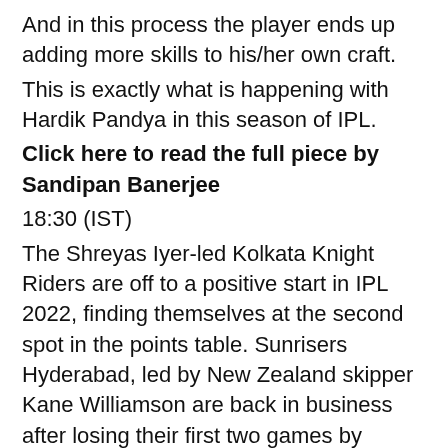And in this process the player ends up adding more skills to his/her own craft.
This is exactly what is happening with Hardik Pandya in this season of IPL.
Click here to read the full piece by Sandipan Banerjee
18:30 (IST)
The Shreyas Iyer-led Kolkata Knight Riders are off to a positive start in IPL 2022, finding themselves at the second spot in the points table. Sunrisers Hyderabad, led by New Zealand skipper Kane Williamson are back in business after losing their first two games by beating Chennai Super Kings and Gujarat Titans — both by eight wickets — in their last